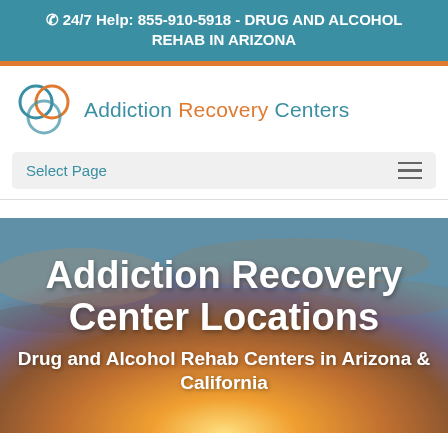📞 24/7 Help: 855-910-5918 - DRUG AND ALCOHOL REHAB IN ARIZONA
[Figure (logo): Addiction Recovery Centers logo with overlapping circles icon in teal and orange, and text 'Addiction Recovery Centers']
Select Page
Addiction Recovery Center Locations
Drug and Alcohol Rehab Centers in Arizona & California